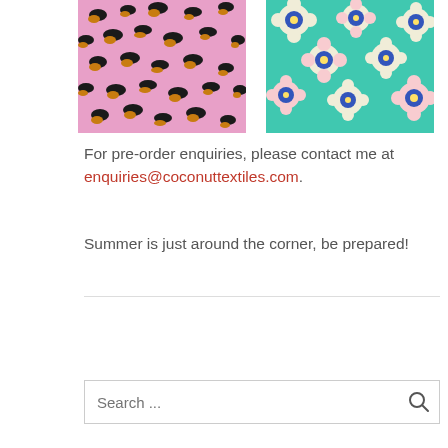[Figure (illustration): Pink leopard print fabric pattern with black and golden spots on pink background]
[Figure (illustration): Colorful floral fabric pattern with cream, pink, blue and green flowers on teal background]
For pre-order enquiries, please contact me at enquiries@coconuttextiles.com.
Summer is just around the corner, be prepared!